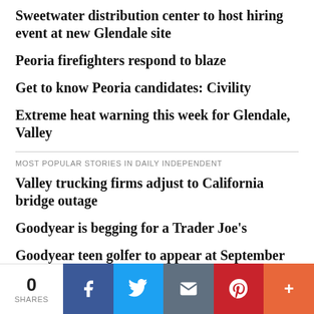Sweetwater distribution center to host hiring event at new Glendale site
Peoria firefighters respond to blaze
Get to know Peoria candidates: Civility
Extreme heat warning this week for Glendale, Valley
MOST POPULAR STORIES IN DAILY INDEPENDENT
Valley trucking firms adjust to California bridge outage
Goodyear is begging for a Trader Joe's
Goodyear teen golfer to appear at September tournament